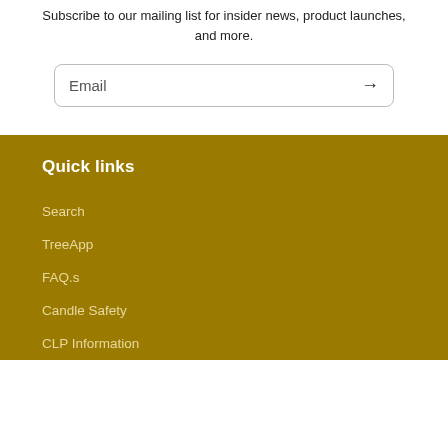Subscribe to our mailing list for insider news, product launches, and more.
[Figure (other): Email input box with placeholder text 'Email' and a right-arrow subscribe button]
Quick links
Search
TreeApp
FAQ.s
Candle Safety
CLP Information